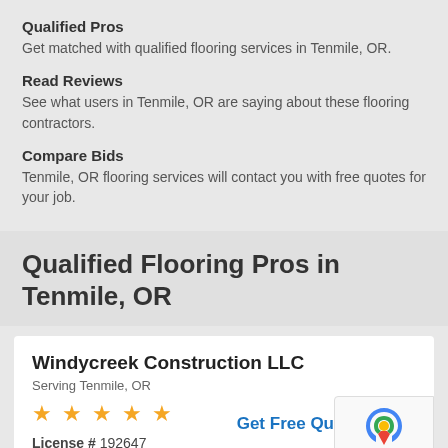Qualified Pros
Get matched with qualified flooring services in Tenmile, OR.
Read Reviews
See what users in Tenmile, OR are saying about these flooring contractors.
Compare Bids
Tenmile, OR flooring services will contact you with free quotes for your job.
Qualified Flooring Pros in Tenmile, OR
Windycreek Construction LLC
Serving Tenmile, OR
★★★★★
Get Free Qu
License # 192647